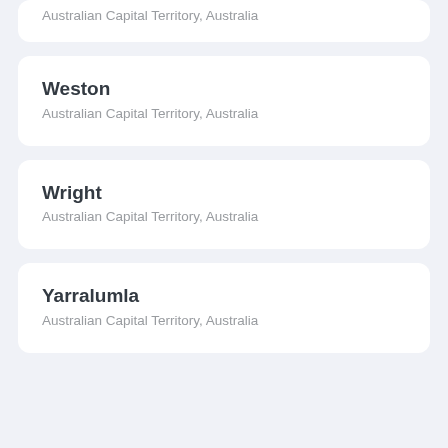Australian Capital Territory, Australia
Weston
Australian Capital Territory, Australia
Wright
Australian Capital Territory, Australia
Yarralumla
Australian Capital Territory, Australia